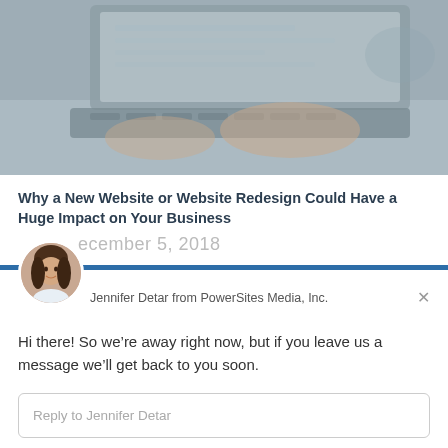[Figure (photo): Person typing on a laptop keyboard, viewed from above, greyscale/muted tones]
Why a New Website or Website Redesign Could Have a Huge Impact on Your Business
December 5, 2018
Jennifer Detar from PowerSites Media, Inc.
Hi there! So we’re away right now, but if you leave us a message we’ll get back to you soon.
Reply to Jennifer Detar
Chat ⚡ by Drift